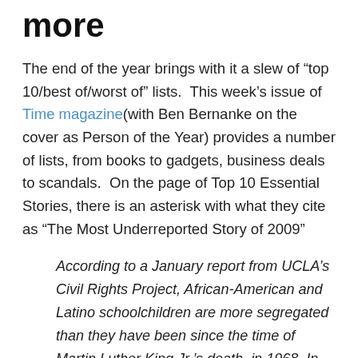more
The end of the year brings with it a slew of “top 10/best of/worst of” lists.  This week’s issue of Time magazine(with Ben Bernanke on the cover as Person of the Year) provides a number of lists, from books to gadgets, business deals to scandals.  On the page of Top 10 Essential Stories, there is an asterisk with what they cite as “The Most Underreported Story of 2009”
According to a January report from UCLA’s Civil Rights Project, African-American and Latino schoolchildren are more segregated than they have been since the time of Martin Luther King Jr.’s death, in 1968. In the 2006-07 school year, nearly 40% attended schools–many of them subpar “dropout factories”–where students of color made up 90% to 100% of the student